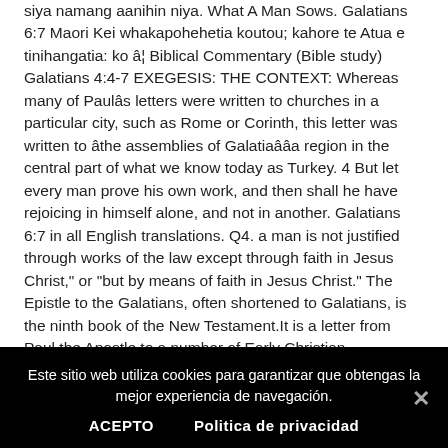siya namang aanihin niya. What A Man Sows. Galatians 6:7 Maori Kei whakapohehetia koutou; kahore te Atua e tinihangatia: ko â¦ Biblical Commentary (Bible study) Galatians 4:4-7 EXEGESIS: THE CONTEXT: Whereas many of Paulâs letters were written to churches in a particular city, such as Rome or Corinth, this letter was written to âthe assemblies of Galatiaâââa region in the central part of what we know today as Turkey. 4 But let every man prove his own work, and then shall he have rejoicing in himself alone, and not in another. Galatians 6:7 in all English translations. Q4. a man is not justified through works of the law except through faith in Jesus Christ," or "but by means of faith in Jesus Christ." The Epistle to the Galatians, often shortened to Galatians, is the ninth book of the New Testament.It is a letter from Paul the Apostle to a number of Early Christian
Este sitio web utiliza cookies para garantizar que obtengas la mejor experiencia de navegación.
ACEPTO    Politica de privacidad